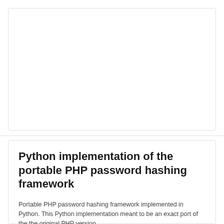Python implementation of the portable PHP password hashing framework
Portable PHP password hashing framework implemented in Python. This Python implementation meant to be an exact port of the the original PHP version.
Oct 10, 2022